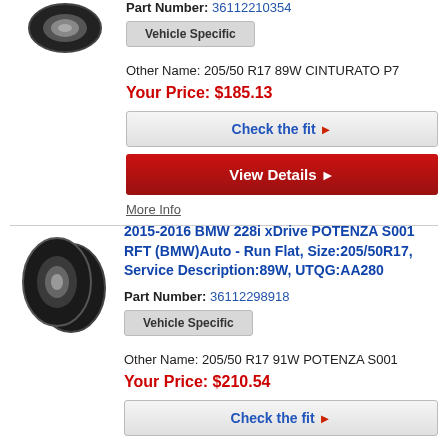Part Number: 36112210354
Vehicle Specific
Other Name: 205/50 R17 89W CINTURATO P7
Your Price: $185.13
Check the fit ▶
View Details ▶
More Info
[Figure (photo): Tire image for second product]
2015-2016 BMW 228i xDrive POTENZA S001 RFT (BMW)Auto - Run Flat, Size:205/50R17, Service Description:89W, UTQG:AA280
Part Number: 36112298918
Vehicle Specific
Other Name: 205/50 R17 91W POTENZA S001
Your Price: $210.54
Check the fit ▶